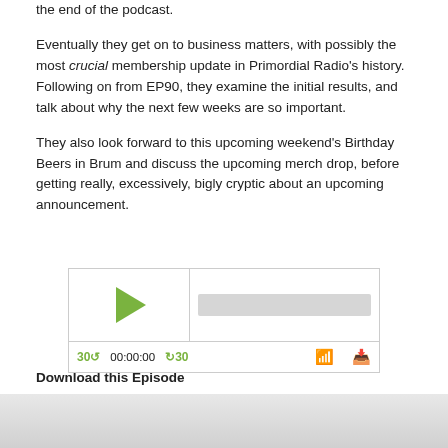the end of the podcast.
Eventually they get on to business matters, with possibly the most crucial membership update in Primordial Radio's history. Following on from EP90, they examine the initial results, and talk about why the next few weeks are so important.
They also look forward to this upcoming weekend's Birthday Beers in Brum and discuss the upcoming merch drop, before getting really, excessively, bigly cryptic about an upcoming announcement.
[Figure (other): Audio player widget with play button, progress bar, skip controls (30s back, time display 00:00:00, 30s forward), RSS feed icon, and download icon]
Download this Episode
1